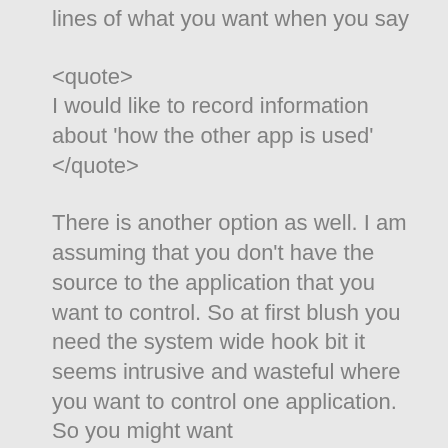lines of what you want when you say
<quote>
I would like to record information about 'how the other app is used'
</quote>
There is another option as well. I am assuming that you don't have the source to the application that you want to control. So at first blush you need the system wide hook bit it seems intrusive and wasteful where you want to control one application. So you might want
[In your application]